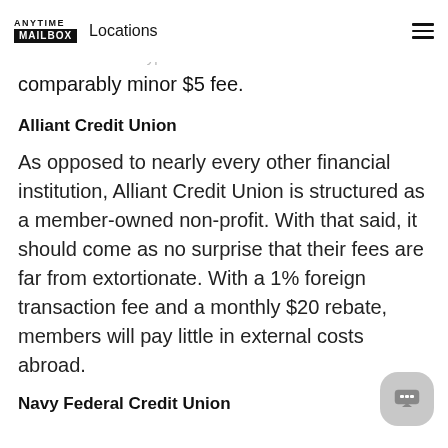ANYTIME MAILBOX | Locations
foreign transaction costs. Although direct purchases incur a 3% charge, a typical withdrawal results in a comparably minor $5 fee.
Alliant Credit Union
As opposed to nearly every other financial institution, Alliant Credit Union is structured as a member-owned non-profit. With that said, it should come as no surprise that their fees are far from extortionate. With a 1% foreign transaction fee and a monthly $20 rebate, members will pay little in external costs abroad.
Navy Federal Credit Union